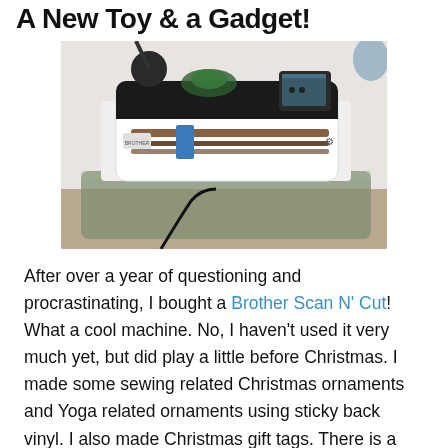A New Toy & a Gadget!
[Figure (photo): Photo of a Brother Scan N Cut cutting machine on a desk, with a glass tray extended in front, cables visible on top, and a small digital display screen on the right side of the machine.]
After over a year of questioning and procrastinating, I bought a Brother Scan N' Cut! What a cool machine. No, I haven't used it very much yet, but did play a little before Christmas. I made some sewing related Christmas ornaments and Yoga related ornaments using sticky back vinyl. I also made Christmas gift tags. There is a learning